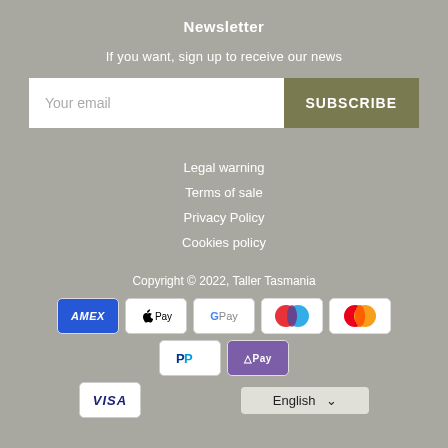Newsletter
If you want, sign up to receive our news
Your email | SUBSCRIBE
Legal warning
Terms of sale
Privacy Policy
Cookies policy
Copyright © 2022, Taller Tasmania
[Figure (infographic): Payment method icons: American Express, Apple Pay, Google Pay, Maestro, Mastercard, PayPal, OPay, Visa]
English ∨